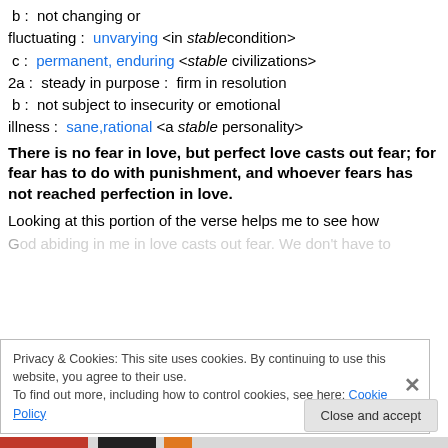b :  not changing or fluctuating :  unvarying <in stable condition>
c :  permanent, enduring <stable civilizations>
2a :  steady in purpose :  firm in resolution
b :  not subject to insecurity or emotional illness :  sane,rational <a stable personality>
There is no fear in love, but perfect love casts out fear; for fear has to do with punishment, and whoever fears has not reached perfection in love.
Looking at this portion of the verse helps me to see how God abiding in me in love casts out fear. We don't have to
Privacy & Cookies: This site uses cookies. By continuing to use this website, you agree to their use. To find out more, including how to control cookies, see here: Cookie Policy